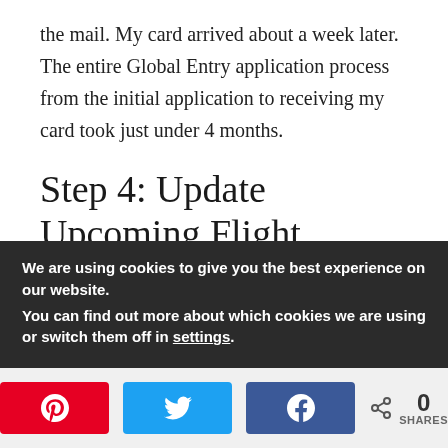the mail. My card arrived about a week later. The entire Global Entry application process from the initial application to receiving my card took just under 4 months.
Step 4: Update Upcoming Flight Itineraries
If you have any upcoming flights planned, add your Known Traveler number (you can find it on your GOES account) to your itineraries. This number will allow you to get TSA PreCheck for
We are using cookies to give you the best experience on our website.
You can find out more about which cookies we are using or switch them off in settings.
[Figure (other): Social sharing buttons: Pinterest (red), Twitter (blue), Facebook (blue), and a share count showing 0 SHARES]